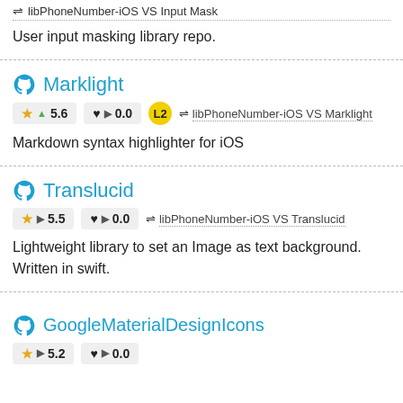⇌ libPhoneNumber-iOS VS Input Mask
User input masking library repo.
Marklight
★ ▲ 5.6   ♥ ▶ 0.0   L2   ⇌ libPhoneNumber-iOS VS Marklight
Markdown syntax highlighter for iOS
Translucid
★ ▶ 5.5   ♥ ▶ 0.0   ⇌ libPhoneNumber-iOS VS Translucid
Lightweight library to set an Image as text background. Written in swift.
GoogleMaterialDesignIcons
★ ▶ 5.2   ♥ ▶ 0.0